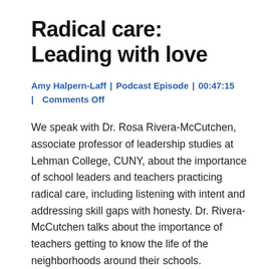Radical care: Leading with love
Amy Halpern-Laff  |  Podcast Episode  |  00:47:15  |  Comments Off
We speak with Dr. Rosa Rivera-McCutchen, associate professor of leadership studies at Lehman College, CUNY, about the importance of school leaders and teachers practicing radical care, including listening with intent and addressing skill gaps with honesty. Dr. Rivera-McCutchen talks about the importance of teachers getting to know the life of the neighborhoods around their schools.